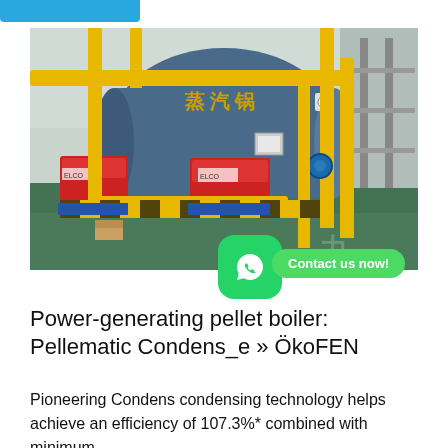[Figure (photo): Industrial boiler room with large blue cylindrical boilers, red burner units, yellow piping and supports, on a green reflective floor. Safety striped yellow-black barriers visible. Chinese characters on boiler.]
Power-generating pellet boiler: Pellematic Condens_e » ÖkoFEN
Pioneering Condens condensing technology helps achieve an efficiency of 107.3%* combined with minimum